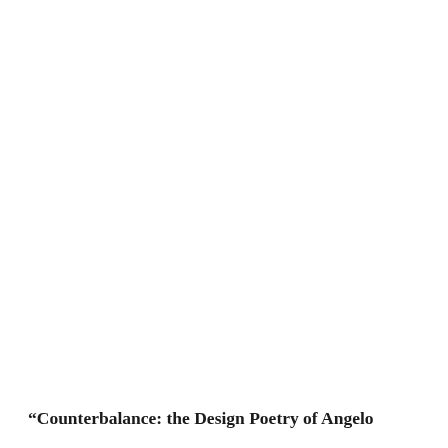“Counterbalance: the Design Poetry of Angelo